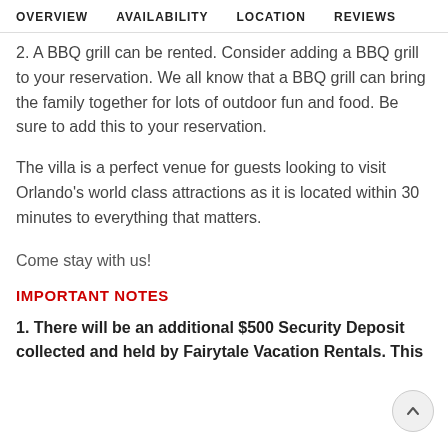OVERVIEW   AVAILABILITY   LOCATION   REVIEWS
2. A BBQ grill can be rented. Consider adding a BBQ grill to your reservation. We all know that a BBQ grill can bring the family together for lots of outdoor fun and food. Be sure to add this to your reservation.
The villa is a perfect venue for guests looking to visit Orlando's world class attractions as it is located within 30 minutes to everything that matters.
Come stay with us!
IMPORTANT NOTES
1. There will be an additional $500 Security Deposit collected and held by Fairytale Vacation Rentals. This